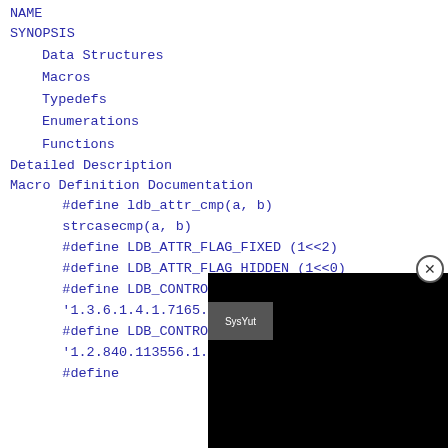NAME
SYNOPSIS
Data Structures
Macros
Typedefs
Enumerations
Functions
Detailed Description
Macro Definition Documentation
#define ldb_attr_cmp(a, b)
strcasecmp(a, b)
#define LDB_ATTR_FLAG_FIXED (1<<2)
#define LDB_ATTR_FLAG_HIDDEN (1<<0)
#define LDB_CONTROL...
'1.3.6.1.4.1.7165.4...
#define LDB_CONTROL...
'1.2.840.113556.1.4...
#define